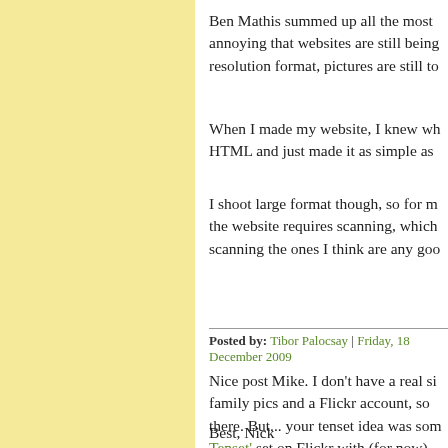Ben Mathis summed up all the most annoying that websites are still being resolution format, pictures are still to
When I made my website, I knew wh HTML and just made it as simple as
I shoot large format though, so for m the website requires scanning, which scanning the ones I think are any goo
Posted by: Tibor Palocsay | Friday, 18 December 2009
Nice post Mike. I don't have a real si family pics and a Flickr account, so there. But... your tenset idea was som Tenset' set on Flickr with (for now) like.
Best, Nick